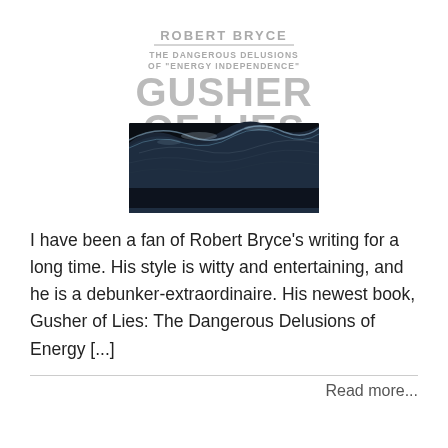[Figure (illustration): Book cover of 'Gusher of Lies: The Dangerous Delusions of Energy Independence' by Robert Bryce. Top portion shows author name and subtitle in gray text on white background, large 'GUSHER OF LIES' text in gray, and bottom portion shows a dark photograph of ocean waves.]
I have been a fan of Robert Bryce's writing for a long time. His style is witty and entertaining, and he is a debunker-extraordinaire. His newest book, Gusher of Lies: The Dangerous Delusions of Energy [...]
Read more...